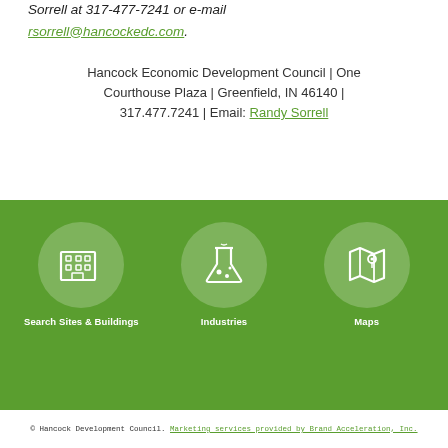For more information, contact Executive Director Randy Sorrell at 317-477-7241 or e-mail rsorrell@hancockedc.com.
Hancock Economic Development Council | One Courthouse Plaza | Greenfield, IN 46140 | 317.477.7241 | Email: Randy Sorrell
[Figure (infographic): Green footer bar with three circular icons: Search Sites & Buildings (building icon), Industries (science flask icon), Maps (map icon), each with white line art on a lighter green circle background, labels below in white.]
© Hancock Development Council. Marketing services provided by Brand Acceleration, Inc.